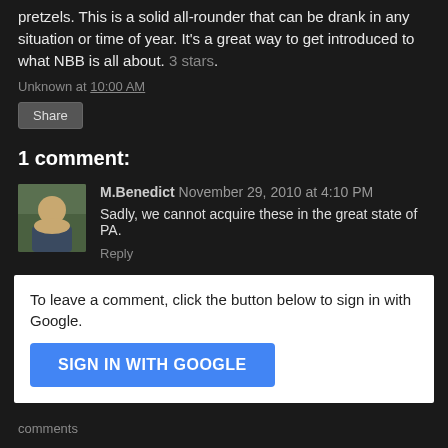pretzels. This is a solid all-rounder that can be drank in any situation or time of year. It's a great way to get introduced to what NBB is all about. 3 stars.
Unknown at 10:00 AM
Share
1 comment:
M.Benedict  November 29, 2010 at 4:10 PM
Sadly, we cannot acquire these in the great state of PA.
Reply
To leave a comment, click the button below to sign in with Google.
SIGN IN WITH GOOGLE
comments